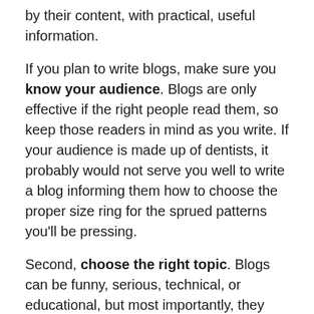by their content, with practical, useful information.
If you plan to write blogs, make sure you know your audience. Blogs are only effective if the right people read them, so keep those readers in mind as you write. If your audience is made up of dentists, it probably would not serve you well to write a blog informing them how to choose the proper size ring for the sprued patterns you'll be pressing.
Second, choose the right topic. Blogs can be funny, serious, technical, or educational, but most importantly, they must be of interest to your readers. They have to keep the reader's attention, so make them relatively short, easy-to-read, relevant, and if applicable, embed illustrations or photos. Images like these can enhance the post,